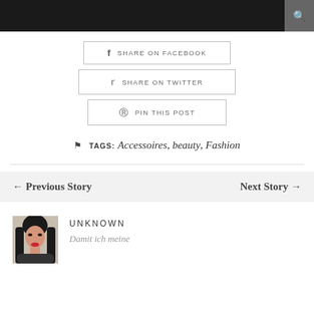SHARE ON FACEBOOK
SHARE ON TWITTER
PIN THIS POST
TAGS: Accessoires, beauty, Fashion
← Previous Story   Next Story →
UNKNOWN
Damit ich meine
[Figure (photo): Author photo of a woman with long dark hair and red lipstick]